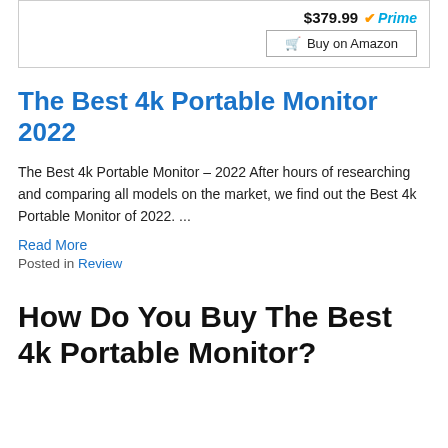$379.99 Prime Buy on Amazon
The Best 4k Portable Monitor 2022
The Best 4k Portable Monitor – 2022 After hours of researching and comparing all models on the market, we find out the Best 4k Portable Monitor of 2022. ...
Read More
Posted in Review
How Do You Buy The Best 4k Portable Monitor?